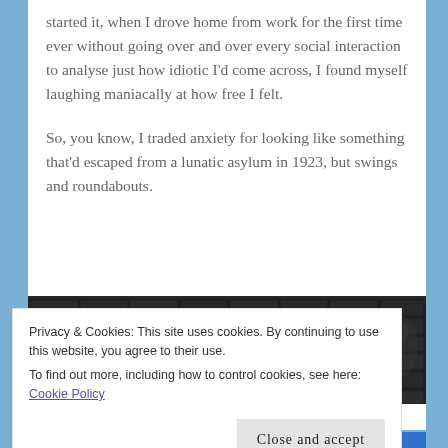started it, when I drove home from work for the first time ever without going over and over every social interaction to analyse just how idiotic I'd come across, I found myself laughing maniacally at how free I felt.
So, you know, I traded anxiety for looking like something that'd escaped from a lunatic asylum in 1923, but swings and roundabouts.
[Figure (photo): Black and white photograph showing a brick wall with graffiti/writing on it, partially visible figures or faces on the left and right sides.]
Privacy & Cookies: This site uses cookies. By continuing to use this website, you agree to their use.
To find out more, including how to control cookies, see here: Cookie Policy